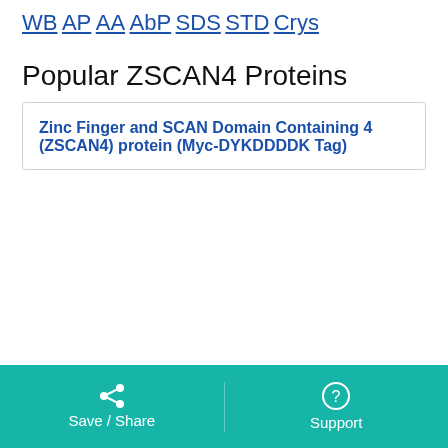WB
AP
AA
AbP
SDS
STD
Crys
Popular ZSCAN4 Proteins
Zinc Finger and SCAN Domain Containing 4 (ZSCAN4) protein (Myc-DYKDDDDK Tag)
Save / Share    Support